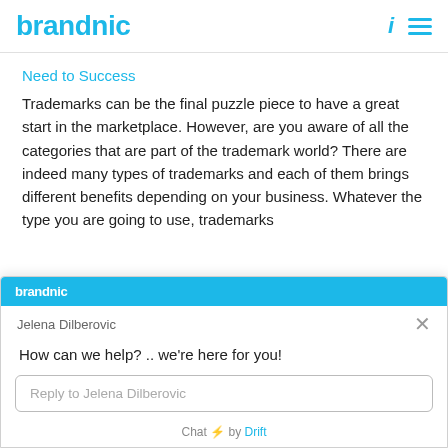brandnic
Need to Success
Trademarks can be the final puzzle piece to have a great start in the marketplace. However, are you aware of all the categories that are part of the trademark world? There are indeed many types of trademarks and each of them brings different benefits depending on your business. Whatever the type you are going to use, trademarks
[Figure (screenshot): Drift chat widget overlay showing brandnic branding, agent name Jelena Dilberovic, message 'How can we help? .. we're here for you!', a reply input box, and 'Chat by Drift' footer.]